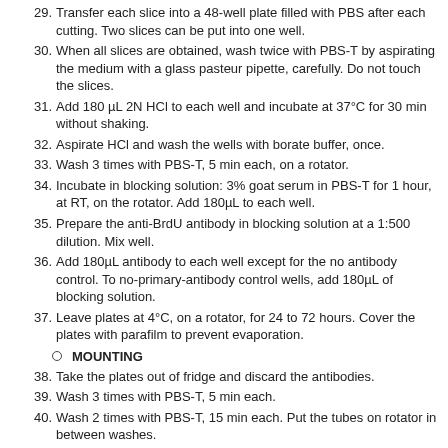29. Transfer each slice into a 48-well plate filled with PBS after each cutting. Two slices can be put into one well.
30. When all slices are obtained, wash twice with PBS-T by aspirating the medium with a glass pasteur pipette, carefully. Do not touch the slices.
31. Add 180 µL 2N HCl to each well and incubate at 37°C for 30 min without shaking.
32. Aspirate HCl and wash the wells with borate buffer, once.
33. Wash 3 times with PBS-T, 5 min each, on a rotator.
34. Incubate in blocking solution: 3% goat serum in PBS-T for 1 hour, at RT, on the rotator. Add 180µL to each well.
35. Prepare the anti-BrdU antibody in blocking solution at a 1:500 dilution. Mix well.
36. Add 180µL antibody to each well except for the no antibody control. To no-primary-antibody control wells, add 180µL of blocking solution.
37. Leave plates at 4°C, on a rotator, for 24 to 72 hours. Cover the plates with parafilm to prevent evaporation.
MOUNTING
38. Take the plates out of fridge and discard the antibodies.
39. Wash 3 times with PBS-T, 5 min each.
40. Wash 2 times with PBS-T, 15 min each. Put the tubes on rotator in between washes.
41. Incubate in blocking solution: 3% goat serum in PBS-T, for 30 min on a rotator.